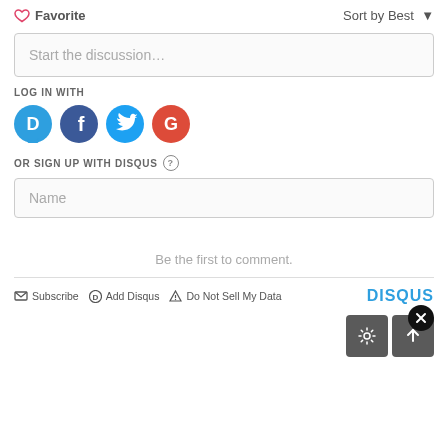♡ Favorite
Sort by Best ▾
Start the discussion...
LOG IN WITH
[Figure (illustration): Four social login icons: Disqus (blue), Facebook (dark blue), Twitter (light blue), Google (red)]
OR SIGN UP WITH DISQUS ?
Name
Be the first to comment.
✕ (close button)
✉ Subscribe  ⓓ Add Disqus  ⚠ Do Not Sell My Data
DISQUS
[Figure (illustration): Gear icon button and up-arrow icon button at bottom right]